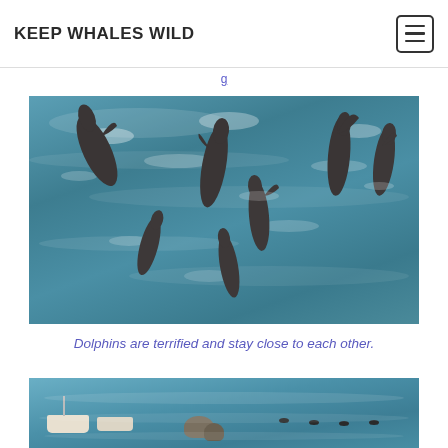KEEP WHALES WILD
[Figure (photo): Aerial or overhead photo of a group of dolphins swimming close together in blue-green ocean water, appearing frightened and huddled.]
Dolphins are terrified and stay close to each other.
[Figure (photo): Photo of boats and what appear to be dolphins or marine animals in a cove or bay with rocky outcroppings visible.]